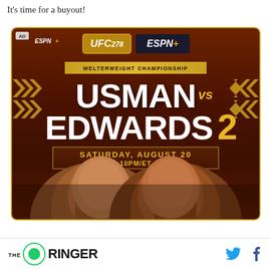It's time for a buyout!
[Figure (advertisement): UFC 278 ESPN+ advertisement showing Welterweight Championship: Usman vs Edwards 2, Saturday August 20, 10PM/ET, with photos of the two fighters facing each other]
THE RINGER (with Twitter and Facebook icons)